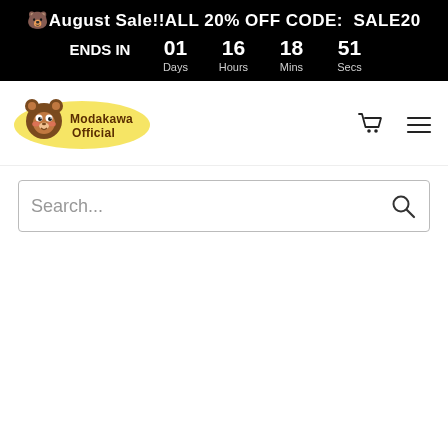🐻August Sale!!ALL 20% OFF CODE: SALE20 ENDS IN 01 Days 16 Hours 18 Mins 51 Secs
[Figure (logo): Modakawa Official bear mascot logo with yellow background]
Search...